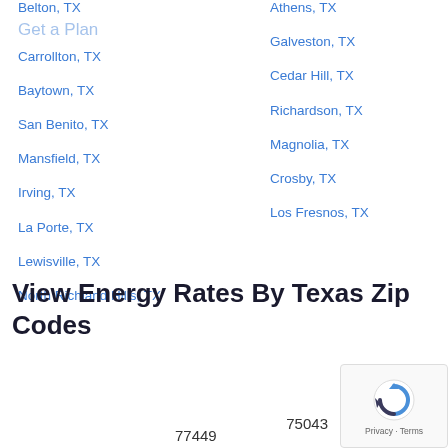Belton, TX
Carrollton, TX
Baytown, TX
San Benito, TX
Mansfield, TX
Irving, TX
La Porte, TX
Lewisville, TX
North Richland Hills, TX
Athens, TX
Galveston, TX
Cedar Hill, TX
Richardson, TX
Magnolia, TX
Crosby, TX
Los Fresnos, TX
View Energy Rates By Texas Zip Codes
75043
77449